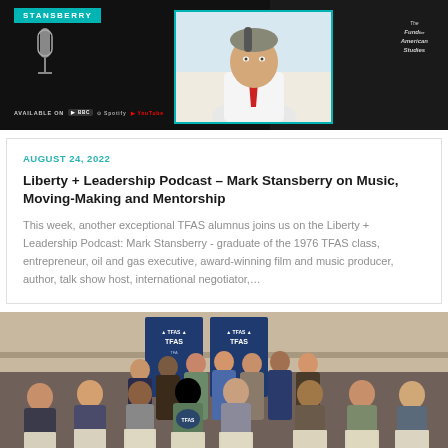[Figure (photo): Podcast banner for Stansberry (Liberty + Leadership Podcast) showing a man in white shirt and red tie near a microphone, with TFAS logo. Available on multiple platforms including Spotify and YouTube.]
AUGUST 24, 2022
Liberty + Leadership Podcast – Mark Stansberry on Music, Moving-Making and Mentorship
This week, another exceptional TFAS alumnus joins us on the Liberty + Leadership Podcast: Mark Stansberry - graduate of the 1976 TFAS class, entrepreneur, oil and gas executive, award-winning film and music producer, author, talk show host, international negotiator,…
[Figure (photo): Group photo of approximately 20 TFAS students/graduates holding certificates or framed awards, standing in front of TFAS banners. They are dressed in business attire.]